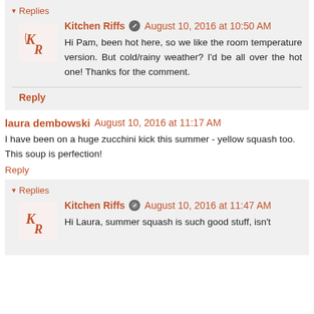Replies
Kitchen Riffs  August 10, 2016 at 10:50 AM
Hi Pam, been hot here, so we like the room temperature version. But cold/rainy weather? I'd be all over the hot one! Thanks for the comment.
Reply
laura dembowski  August 10, 2016 at 11:17 AM
I have been on a huge zucchini kick this summer - yellow squash too. This soup is perfection!
Reply
Replies
Kitchen Riffs  August 10, 2016 at 11:47 AM
Hi Laura, summer squash is such good stuff, isn't it? Isn't it? Thanks for the comment.